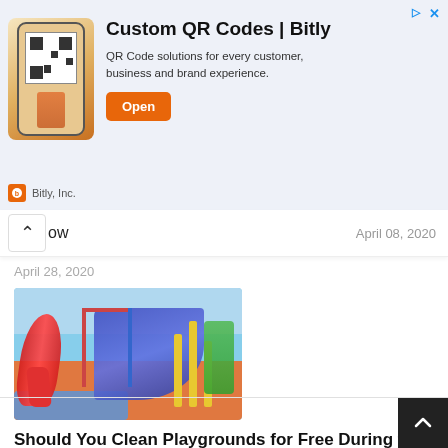[Figure (screenshot): Advertisement banner for Custom QR Codes by Bitly. Shows a phone with QR code image, bold title 'Custom QR Codes | Bitly', description text, and orange 'Open' button. Footer shows Bitly, Inc. logo.]
now
April 08, 2020
April 28, 2020
[Figure (photo): Photo of a colorful children's playground with slides including a red spiral slide and a blue slide, yellow poles, and a green structure on an orange/red rubber surface.]
Should You Clean Playgrounds for Free During the COVID-19 Outbreak?
March 29, 2020